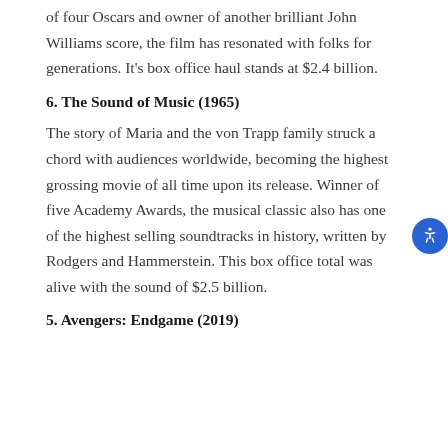of four Oscars and owner of another brilliant John Williams score, the film has resonated with folks for generations. It's box office haul stands at $2.4 billion.
6. The Sound of Music (1965)
The story of Maria and the von Trapp family struck a chord with audiences worldwide, becoming the highest grossing movie of all time upon its release. Winner of five Academy Awards, the musical classic also has one of the highest selling soundtracks in history, written by Rodgers and Hammerstein. This box office total was alive with the sound of $2.5 billion.
5. Avengers: Endgame (2019)